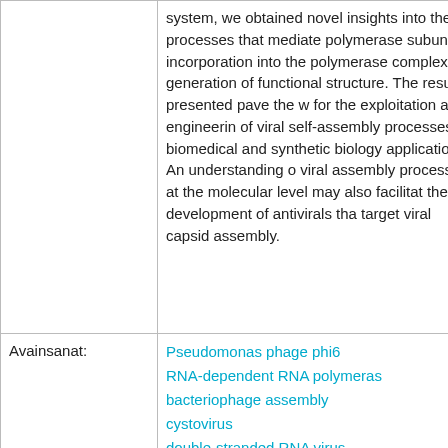|  | system, we obtained novel insights into the processes that mediate polymerase subunit incorporation into the polymerase complex for generation of functional structure. The results presented pave the w for the exploitation and engineering of viral self-assembly processes biomedical and synthetic biology applications. An understanding o viral assembly processes at the molecular level may also facilitate the development of antivirals tha target viral capsid assembly. |
| Avainsanat: | Pseudomonas phage phi6
RNA-dependent RNA polymerase
bacteriophage assembly
cystovirus
double-stranded RNA virus |